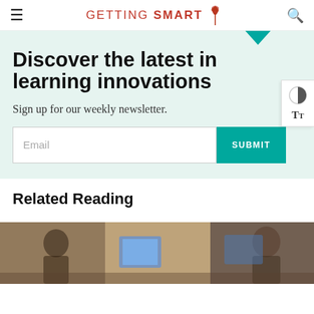GETTING SMART
Discover the latest in learning innovations
Sign up for our weekly newsletter.
Email
SUBMIT
Related Reading
[Figure (photo): Students working on laptops in a classroom or library setting]